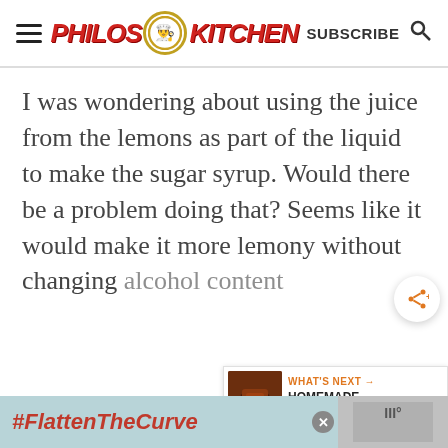Philos Kitchen — SUBSCRIBE
I was wondering about using the juice from the lemons as part of the liquid to make the sugar syrup. Would there be a problem doing that? Seems like it would make it more lemony without changing alcohol content
[Figure (screenshot): What's Next widget showing HOMEMADE SUN-DRIED...]
[Figure (infographic): Bottom ad banner with #FlattenTheCurve and handwashing image]